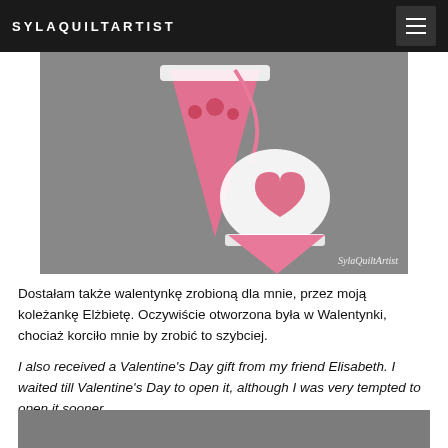SYLAQUILTARTIST
[Figure (photo): Pink fabric cone-shaped Valentine's Day ornaments with lace trim and heart patterns on a grey background. Watermark reads 'SylaQuiltArtist'.]
Dostałam także walentynkę zrobioną dla mnie, przez moją koleżankę Elżbietę. Oczywiście otworzona była w Walentynki, chociaż korciło mnie by zrobić to szybciej.
I also received a Valentine's Day gift from my friend Elisabeth. I waited till Valentine's Day to open it, although I was very tempted to open it sooner.
[Figure (photo): Bottom portion of a photo showing a grey textured background, partially cropped.]